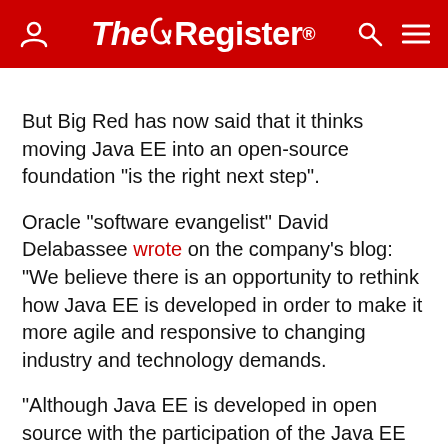The Register
But Big Red has now said that it thinks moving Java EE into an open-source foundation "is the right next step".
Oracle "software evangelist" David Delabassee wrote on the company's blog: "We believe there is an opportunity to rethink how Java EE is developed in order to make it more agile and responsive to changing industry and technology demands.
"Although Java EE is developed in open source with the participation of the Java EE community, often the process is not seen as being agile, flexible or open enough, particularly when compared to other open